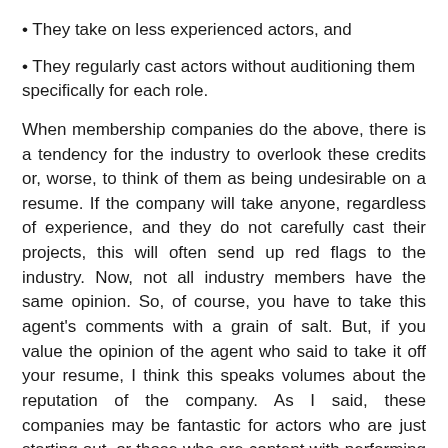They take on less experienced actors, and
They regularly cast actors without auditioning them specifically for each role.
When membership companies do the above, there is a tendency for the industry to overlook these credits or, worse, to think of them as being undesirable on a resume. If the company will take anyone, regardless of experience, and they do not carefully cast their projects, this will often send up red flags to the industry. Now, not all industry members have the same opinion. So, of course, you have to take this agent's comments with a grain of salt. But, if you value the opinion of the agent who said to take it off your resume, I think this speaks volumes about the reputation of the company. As I said, these companies may be fantastic for actors who are just starting out, or those who are content with performing in a non-professional environment. But for more experienced actors, the company may be more trouble than it's worth.